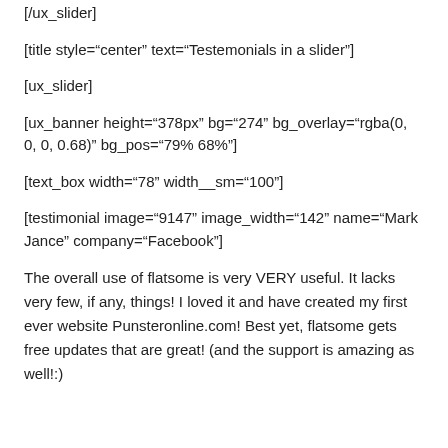[/ux_slider]
[title style="center" text="Testemonials in a slider"]
[ux_slider]
[ux_banner height="378px" bg="274" bg_overlay="rgba(0, 0, 0, 0.68)" bg_pos="79% 68%"]
[text_box width="78" width__sm="100"]
[testimonial image="9147" image_width="142" name="Mark Jance" company="Facebook"]
The overall use of flatsome is very VERY useful. It lacks very few, if any, things! I loved it and have created my first ever website Punsteronline.com! Best yet, flatsome gets free updates that are great! (and the support is amazing as well!:)